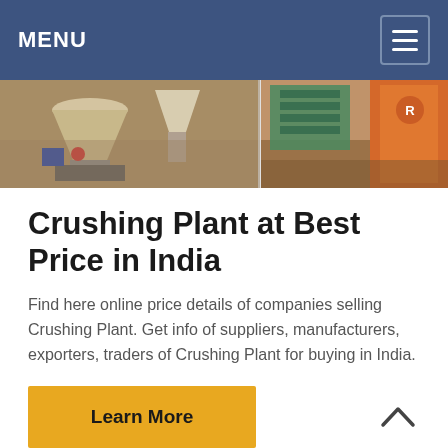MENU
[Figure (photo): Industrial crushing plant machinery showing equipment including a cone crusher, conveyors and orange structural components in a plant setting.]
Crushing Plant at Best Price in India
Find here online price details of companies selling Crushing Plant. Get info of suppliers, manufacturers, exporters, traders of Crushing Plant for buying in India.
Learn More